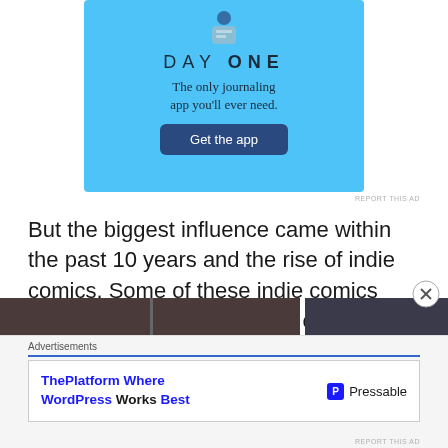[Figure (illustration): Day One journaling app advertisement banner on a light blue background. Shows app icon at top, 'DAY ONE' title with spaced letters, tagline 'The only journaling app you'll ever need.' and a dark blue 'Get the app' button.]
REPORT THIS AD
But the biggest influence came within the past 10 years and the rise of indie comics. Some of these indie comics aren't even inked, yet some can draw fan bases to rival titles from Marvel or DC. Just as they had with anime, Marvel and DC attempted to emulate this style.
[Figure (photo): Partial image strip visible at bottom of content area, appears to be a photo partially cut off]
Advertisements
[Figure (illustration): Pressable advertisement: 'ThePlatform Where WordPress Works Best' with Pressable logo on the right]